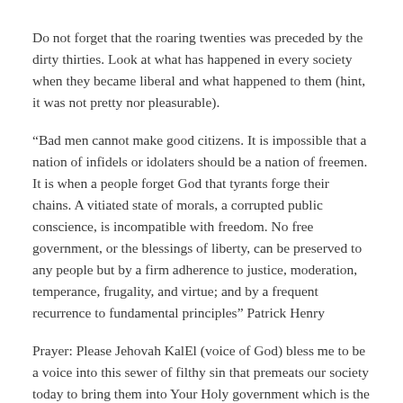Do not forget that the roaring twenties was preceded by the dirty thirties. Look at what has happened in every society when they became liberal and what happened to them (hint, it was not pretty nor pleasurable).
“Bad men cannot make good citizens. It is impossible that a nation of infidels or idolaters should be a nation of freemen. It is when a people forget God that tyrants forge their chains. A vitiated state of morals, a corrupted public conscience, is incompatible with freedom. No free government, or the blessings of liberty, can be preserved to any people but by a firm adherence to justice, moderation, temperance, frugality, and virtue; and by a frequent recurrence to fundamental principles” Patrick Henry
Prayer: Please Jehovah KalEl (voice of God) bless me to be a voice into this sewer of filthy sin that premeats our society today to bring them into Your Holy government which is the Supreme government.